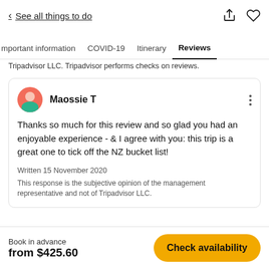< See all things to do
Important information  COVID-19  Itinerary  Reviews
Tripadvisor LLC. Tripadvisor performs checks on reviews.
Maossie T
Thanks so much for this review and so glad you had an enjoyable experience - & I agree with you: this trip is a great one to tick off the NZ bucket list!
Written 15 November 2020
This response is the subjective opinion of the management representative and not of Tripadvisor LLC.
Book in advance
from $425.60
Check availability